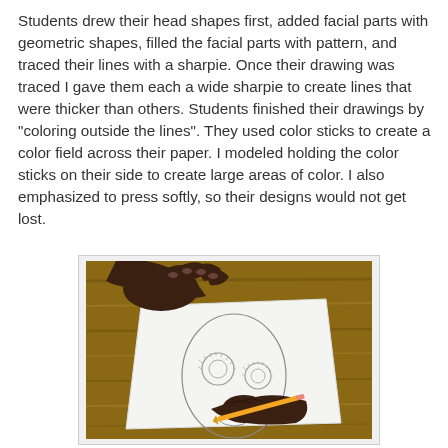Students drew their head shapes first, added facial parts with geometric shapes, filled the facial parts with pattern, and traced their lines with a sharpie. Once their drawing was traced I gave them each a wide sharpie to create lines that were thicker than others. Students finished their drawings by "coloring outside the lines". They used color sticks to create a color field across their paper. I modeled holding the color sticks on their side to create large areas of color. I also emphasized to press softly, so their designs would not get lost.
[Figure (photo): A student's dark-skinned hands drawing on white paper with a pencil. The paper shows a face outline with geometric eye details drawn on it. The paper rests on a wooden desk surface.]